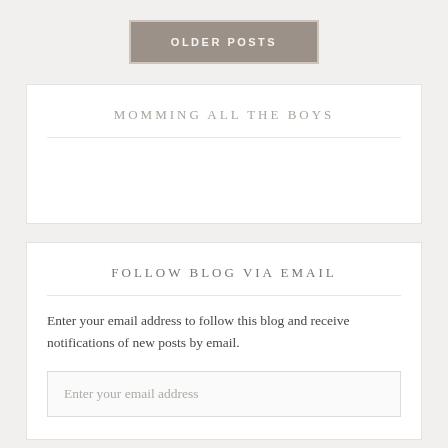OLDER POSTS
MOMMING ALL THE BOYS
FOLLOW BLOG VIA EMAIL
Enter your email address to follow this blog and receive notifications of new posts by email.
Enter your email address